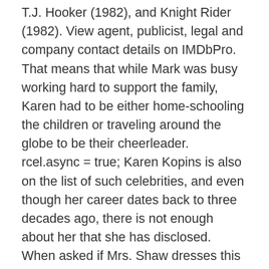T.J. Hooker (1982), and Knight Rider (1982). View agent, publicist, legal and company contact details on IMDbPro. That means that while Mark was busy working hard to support the family, Karen had to be either home-schooling the children or traveling around the globe to be their cheerleader. rcel.async = true; Karen Kopins is also on the list of such celebrities, and even though her career dates back to three decades ago, there is not enough about her that she has disclosed. When asked if Mrs. Shaw dresses this way every day, a friend of hers who was present smiled and acknowledged that she looks "pretty glamorous when she goes to pick up her children at school.". Benjy has also written for DailyMail and TMZ. Join Facebook to connect with Karen Kopins-shaw and others you may know. Mrs. Shaw has spent a considerable amount of time, energy and her own money to bring awareness to the issues surrounding Lyme disease, and she is encouraging members of the public